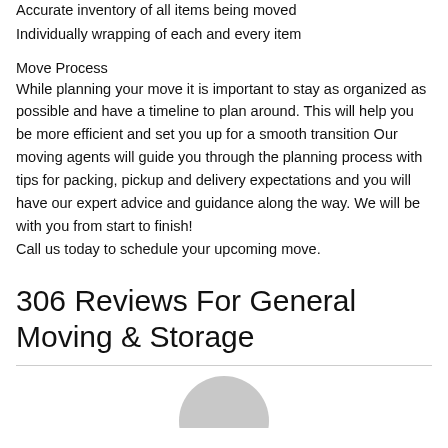Accurate inventory of all items being moved
Individually wrapping of each and every item
Move Process
While planning your move it is important to stay as organized as possible and have a timeline to plan around. This will help you be more efficient and set you up for a smooth transition Our moving agents will guide you through the planning process with tips for packing, pickup and delivery expectations and you will have our expert advice and guidance along the way. We will be with you from start to finish!
Call us today to schedule your upcoming move.
306 Reviews For General Moving & Storage
[Figure (illustration): Gray circular avatar placeholder icon, partially visible at the bottom of the page]